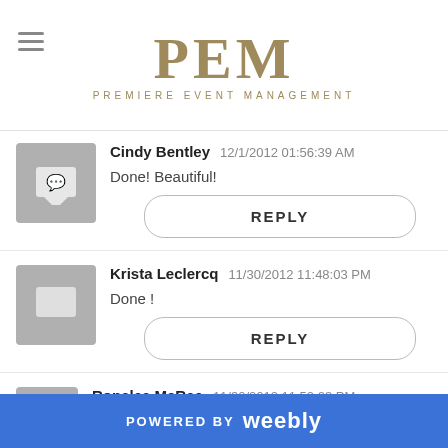[Figure (logo): PEM Premiere Event Management logo with hamburger menu icon]
Cindy Bentley   12/1/2012 01:56:39 AM
Done! Beautiful!
REPLY
Krista Leclercq   11/30/2012 11:48:03 PM
Done !
REPLY
Ronalea McRae   11/30/2012 11:50:23 PM
POWERED BY weebly